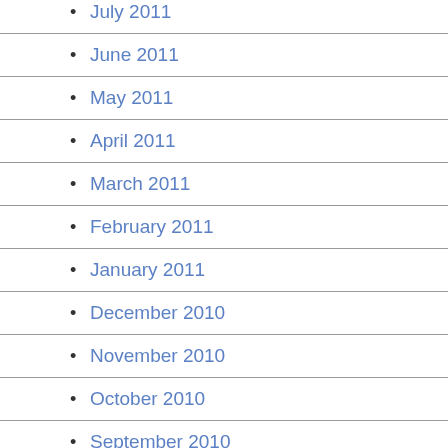July 2011
June 2011
May 2011
April 2011
March 2011
February 2011
January 2011
December 2010
November 2010
October 2010
September 2010
August 2010
July 2010